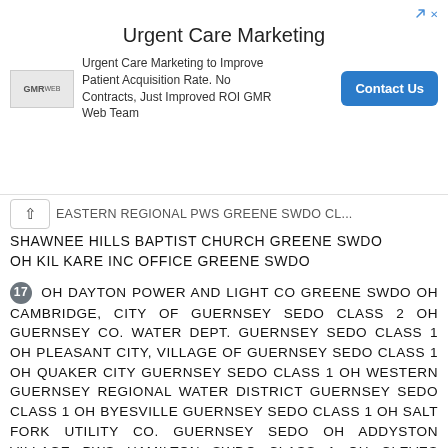[Figure (other): Advertisement banner for Urgent Care Marketing by GMR Web Team, with a Contact Us button.]
EASTERN REGIONAL PWS GREENE SWDO CLASS 2 SHAWNEE HILLS BAPTIST CHURCH GREENE SWDO OH KIL KARE INC OFFICE GREENE SWDO
17 OH DAYTON POWER AND LIGHT CO GREENE SWDO OH CAMBRIDGE, CITY OF GUERNSEY SEDO CLASS 2 OH GUERNSEY CO. WATER DEPT. GUERNSEY SEDO CLASS 1 OH PLEASANT CITY, VILLAGE OF GUERNSEY SEDO CLASS 1 OH QUAKER CITY GUERNSEY SEDO CLASS 1 OH WESTERN GUERNSEY REGIONAL WATER DISTRICT GUERNSEY SEDO CLASS 1 OH BYESVILLE GUERNSEY SEDO CLASS 1 OH SALT FORK UTILITY CO. GUERNSEY SEDO OH ADDYSTON VILLAGE PWS HAMILTON SWDO CLASS 1 OH CLEVES VILLAGE PWS HAMILTON SWDO CLASS 1 OH GLENDALE VILLAGE PWS HAMILTON SWDO CLASS 1 OH GLENDALE VILLAGE PWS HAMILTON SWDO CLASS 1 OH HARRISON CITY PWS HAMILTON SWDO CLASS 1 OH INDIAN HILL CITY PWS HAMILTON SWDO